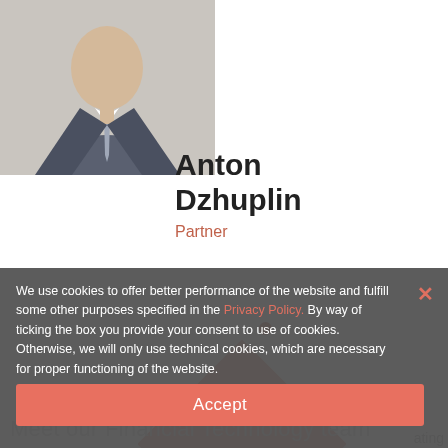[Figure (photo): Headshot photo of Anton Dzhuplin in a suit with a tie, light background]
Anton Dzhuplin
Partner
Meet our Financial Technology team
We use cookies to offer better performance of the website and fulfill some other purposes specified in the Privacy Policy. By way of ticking the box you provide your consent to use of cookies. Otherwise, we will only use technical cookies, which are necessary for proper functioning of the website.
ALRUD leads the Chambers Fintech 2021 ranking
Accept